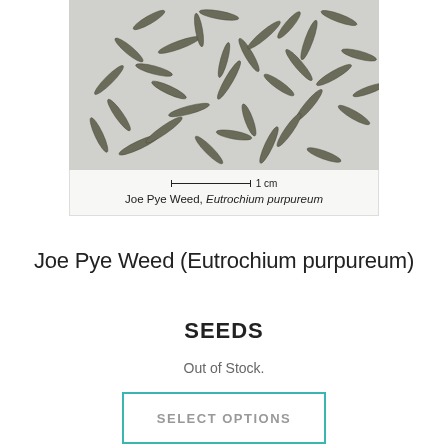[Figure (photo): Close-up photograph of Joe Pye Weed (Eutrochium purpureum) seeds scattered on white background, with a 1 cm scale bar. Caption reads: Joe Pye Weed, Eutrochium purpureum]
Joe Pye Weed (Eutrochium purpureum)
SEEDS
Out of Stock.
SELECT OPTIONS